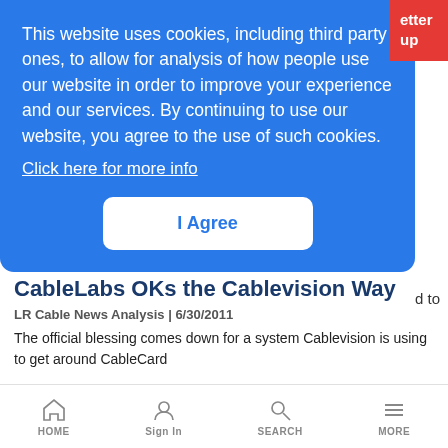This website uses cookies, including third party ones, to allow for analysis of how people use our website in order to improve your experience and our services. By continuing to use our website, you agree to the use of such cookies. Click here for more info
I Agree
CableLabs OKs the Cablevision Way
LR Cable News Analysis | 6/30/2011
The official blessing comes down for a system Cablevision is using to get around CableCard
HOME  Sign In  SEARCH  MORE